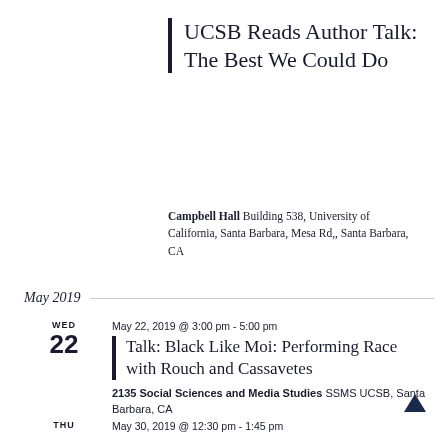UCSB Reads Author Talk: The Best We Could Do
Campbell Hall Building 538, University of California, Santa Barbara, Mesa Rd,, Santa Barbara, CA
May 2019
May 22, 2019 @ 3:00 pm - 5:00 pm
Talk: Black Like Moi: Performing Race with Rouch and Cassavetes
2135 Social Sciences and Media Studies SSMS UCSB, Santa Barbara, CA
May 30, 2019 @ 12:30 pm - 1:45 pm